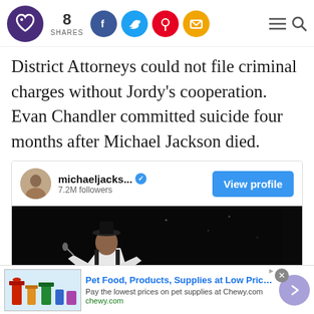8 SHARES [Facebook, Twitter, Pinterest, Email social share buttons] [Menu] [Search]
District Attorneys could not file criminal charges without Jordy's cooperation. Evan Chandler committed suicide four months after Michael Jackson died.
[Figure (screenshot): Instagram embed showing michaeljacks... account with 7.2M followers, a View profile button, and a photo of Michael Jackson performing on stage in white outfit against black background.]
[Figure (screenshot): Advertisement banner: Pet Food, Products, Supplies at Low Prices - Pay the lowest prices on pet supplies at Chewy.com, chewy.com]